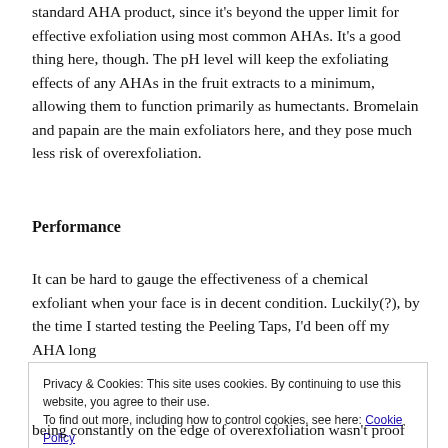standard AHA product, since it's beyond the upper limit for effective exfoliation using most common AHAs. It's a good thing here, though. The pH level will keep the exfoliating effects of any AHAs in the fruit extracts to a minimum, allowing them to function primarily as humectants. Bromelain and papain are the main exfoliators here, and they pose much less risk of overexfoliation.
Performance
It can be hard to gauge the effectiveness of a chemical exfoliant when your face is in decent condition. Luckily(?), by the time I started testing the Peeling Taps, I'd been off my AHA long
Privacy & Cookies: This site uses cookies. By continuing to use this website, you agree to their use.
To find out more, including how to control cookies, see here: Cookie Policy
being constantly on the edge of overexfoliation wasn't proof